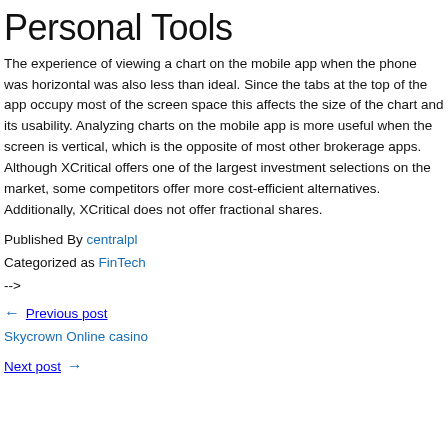Personal Tools
The experience of viewing a chart on the mobile app when the phone was horizontal was also less than ideal. Since the tabs at the top of the app occupy most of the screen space this affects the size of the chart and its usability. Analyzing charts on the mobile app is more useful when the screen is vertical, which is the opposite of most other brokerage apps. Although XCritical offers one of the largest investment selections on the market, some competitors offer more cost-efficient alternatives. Additionally, XCritical does not offer fractional shares.
Published By centralpl
Categorized as FinTech
-->
← Previous post
Skycrown Online casino
Next post →